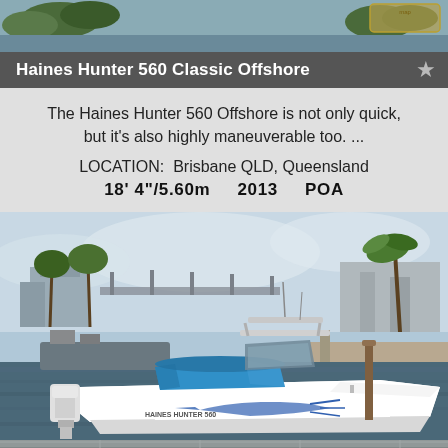[Figure (photo): Background scenic photo showing water and trees, used as top banner area of a boat listing app screenshot]
Haines Hunter 560 Classic Offshore
The Haines Hunter 560 Offshore is not only quick, but it's also highly maneuverable too. ...
LOCATION:  Brisbane QLD, Queensland
18' 4"/5.60m    2013    POA
[Figure (photo): Photo of a white Haines Hunter 560 Classic Offshore boat docked at a marina, featuring a blue canvas cover and marlin graphic on the hull, with palm trees and buildings in the background]